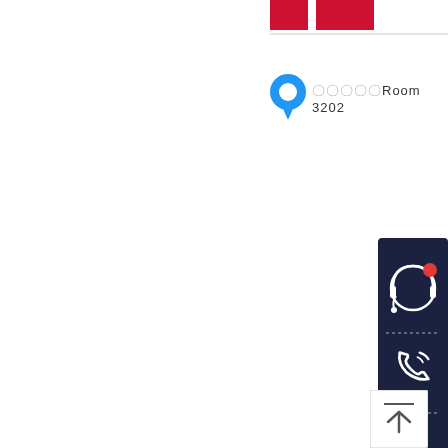[Figure (infographic): Two red square/rectangle blocks at the top center-right area, followed by a horizontal separator line]
〇〇〇〇〇Room 3202
[Figure (infographic): Dark navy vertical sidebar widget on the right side with four icons: headset with red notification dot, phone, QR code, and mail/envelope, separated by dashed lines]
[Figure (infographic): White square button at bottom right with an upward arrow and a line above it (back to top button)]